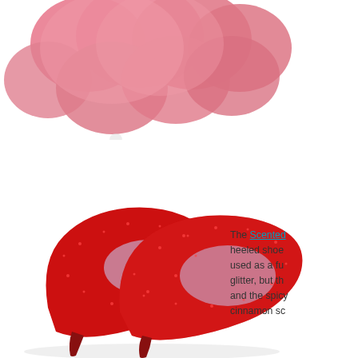[Figure (photo): Pink heart-shaped foam/sponge pieces clustered together on a white background, partially cropped at top of page]
Crafts for
[Figure (photo): A pair of red glitter high-heeled stiletto pumps with lavender/purple interior lining on a white background]
The Scented heeled shoe used as a fu glitter, but th and the spicy cinnamon sc